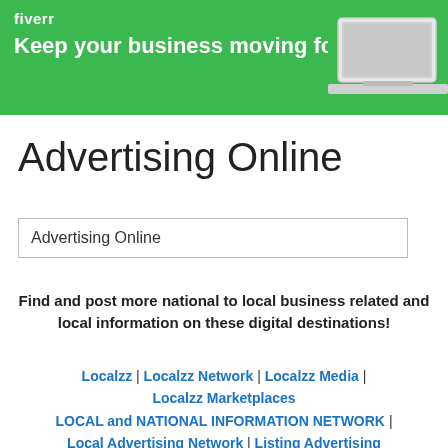[Figure (screenshot): Fiverr banner advertisement with green background showing logo and tagline 'Keep your business moving forward' with a laptop image on the right]
Advertising Online
Advertising Online
Find and post more national to local business related and local information on these digital destinations!
Localzz | Localzz Network | Localzz Media | Localzz Marketplaces LOCAL and NATIONAL INFORMATION NETWORK | Local Advertising Network | Listing Advertising Network